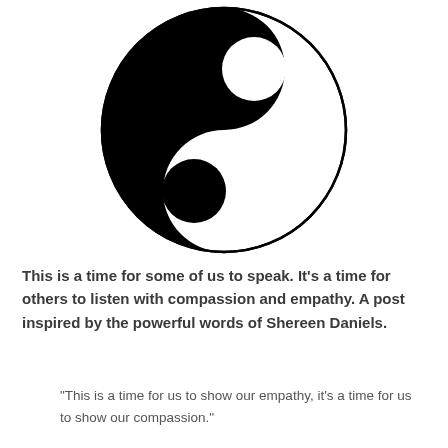[Figure (illustration): A yin-yang style circular symbol rendered in black and white. The upper-left half is filled black with a white circle cutout near the top-right, and the lower-right half is white with a black teardrop/crescent shape. The outer boundary is a thin black circle stroke.]
This is a time for some of us to speak. It's a time for others to listen with compassion and empathy. A post inspired by the powerful words of Shereen Daniels.
“This is a time for us to show our empathy, it’s a time for us to show our compassion.”